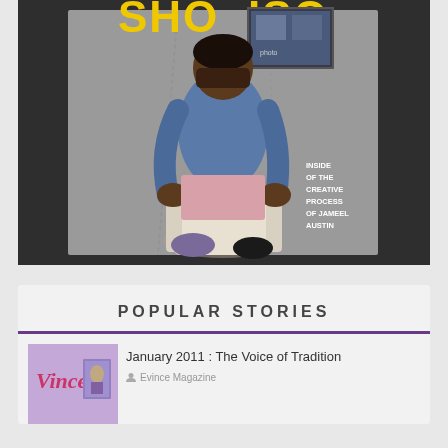[Figure (photo): Magazine cover showing a man in a denim shirt and pink shorts, crouching on a white chair. Text reads 'SHOWCASE' at top in yellow, and 'INSIDE OF THE CREATIVE PROCESS OF JAMEEL AUSTIN' on the right side.]
POPULAR STORIES
[Figure (photo): Thumbnail of a magazine cover showing 'Vince' in script lettering on a purple/lavender background with a small figure on the right side.]
January 2011 : The Voice of Tradition
Evince Magazine